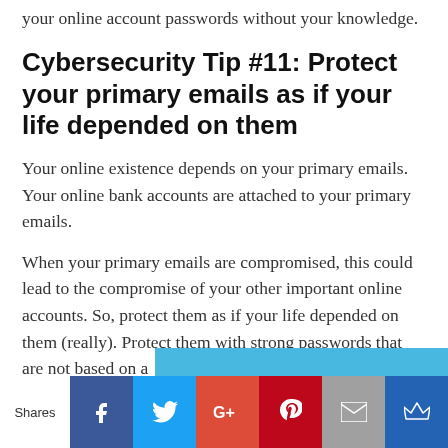your online account passwords without your knowledge.
Cybersecurity Tip #11: Protect your primary emails as if your life depended on them
Your online existence depends on your primary emails. Your online bank accounts are attached to your primary emails.
When your primary emails are compromised, this could lead to the compromise of your other important online accounts. So, protect them as if your life depended on them (really). Protect them with strong passwords that are not based on a
[Figure (infographic): Social sharing bar at bottom with Shares label and icons: Facebook (blue), Twitter (light blue), Google+ (red), Pinterest (dark red), Email (grey), Crown/bookmark (dark blue)]